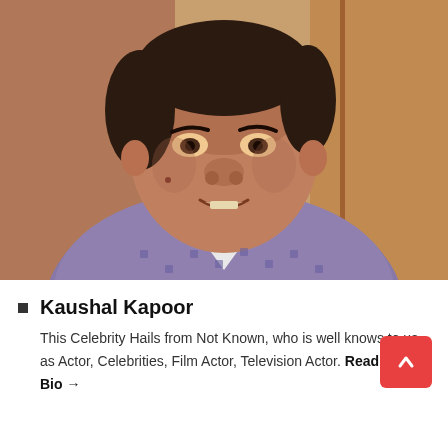[Figure (photo): Portrait photo of Kaushal Kapoor, a middle-aged South Asian man wearing a patterned shirt, close-up shot with warm background tones]
Kaushal Kapoor
This Celebrity Hails from Not Known, who is well knows to us as Actor, Celebrities, Film Actor, Television Actor. Read Full Bio →